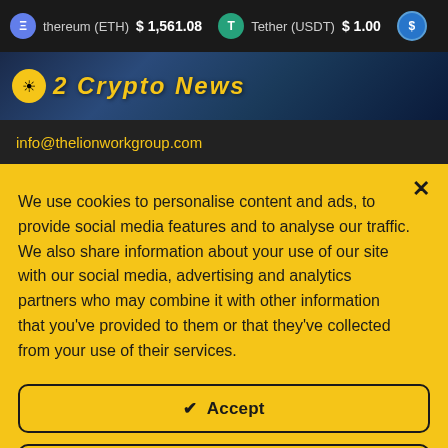Ethereum (ETH) $1,561.08   Tether (USDT) $1.00
[Figure (screenshot): Crypto news website banner with logo and cityscape background]
info@thelionworkgroup.com
We use cookies to personalise content and ads, to provide social media features and to analyse our traffic. We also share information about your use of our site with our social media, advertising and analytics partners who may combine it with other information that you've provided to them or that they've collected from your use of their services.
✔  Accept
Read more  →
Change Settings  ⚙